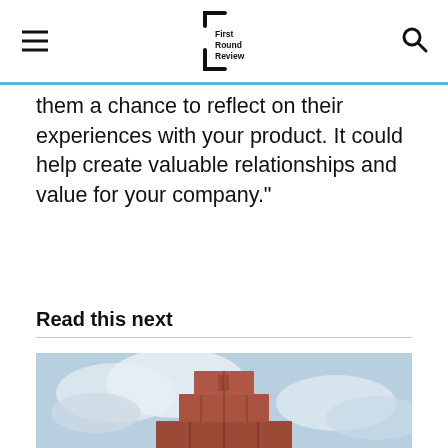First Round Review
them a chance to reflect on their experiences with your product. It could help create valuable relationships and value for your company."
Read this next
[Figure (photo): Stack of red/rust colored shipping containers against a cloudy sky background]